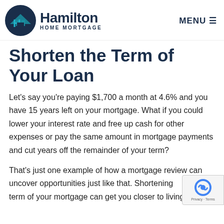[Figure (logo): Hamilton Home Mortgage logo with circular dark navy icon containing a teal H and house shape, and bold navy text 'Hamilton HOME MORTGAGE']
Shorten the Term of Your Loan
Let's say you're paying $1,700 a month at 4.6% and you have 15 years left on your mortgage. What if you could lower your interest rate and free up cash for other expenses or pay the same amount in mortgage payments and cut years off the remainder of your term?
That's just one example of how a mortgage review can uncover opportunities just like that. Shortening the term of your mortgage can get you closer to living a life